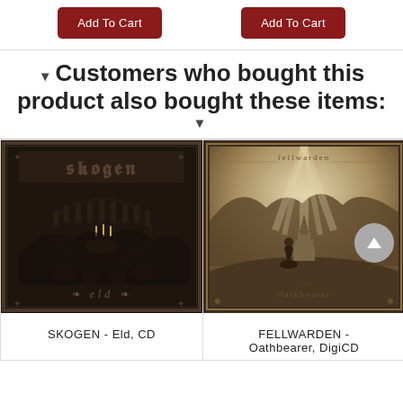Add To Cart (x2 buttons at top)
Customers who bought this product also bought these items:
[Figure (photo): SKOGEN - Eld album cover: dark black and brown illustration with a frame containing runes/band logo at top, figures standing in a circle around candles/ritual scene, and 'eld' text at bottom]
SKOGEN - Eld, CD
[Figure (photo): FELLWARDEN - Oathbearer DigiCD album cover: sepia-toned illustration showing a cloaked figure kneeling before a stone cairn/monument on a hilltop under dramatic rays of light, with 'Fellwarden' text at top and 'Oathbearer' at bottom]
FELLWARDEN - Oathbearer, DigiCD